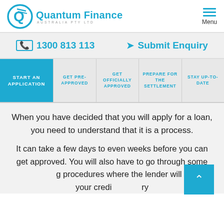[Figure (logo): Quantum Finance Australia Pty Ltd logo with stylized Q icon in blue]
1300 813 113
Submit Enquiry
START AN APPLICATION
GET PRE-APPROVED
GET OFFICIALLY APPROVED
PREPARE FOR THE SETTLEMENT
STAY UP-TO-DATE
When you have decided that you will apply for a loan, you need to understand that it is a process.
It can take a few days to even weeks before you can get approved. You will also have to go through some screening procedures where the lender will review your credit history